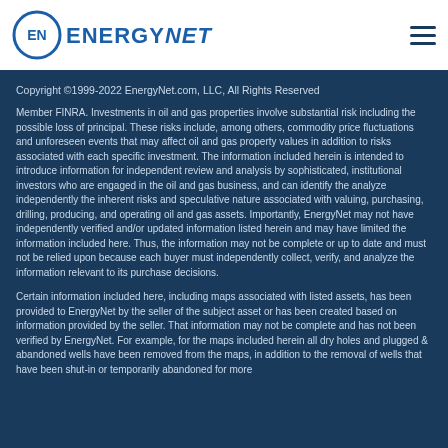[Figure (logo): EnergyNet logo with circular EN emblem and text ENERGYNET in blue]
Copyright ©1999-2022 EnergyNet.com, LLC, All Rights Reserved
Member FINRA. Investments in oil and gas properties involve substantial risk including the possible loss of principal. These risks include, among others, commodity price fluctuations and unforeseen events that may affect oil and gas property values in addition to risks associated with each specific investment. The information included herein is intended to introduce information for independent review and analysis by sophisticated, institutional investors who are engaged in the oil and gas business, and can identify the analyze independently the inherent risks and speculative nature associated with valuing, purchasing, drilling, producing, and operating oil and gas assets. Importantly, EnergyNet may not have independently verified and/or updated information listed herein and may have limited the information included here. Thus, the information may not be complete or up to date and must not be relied upon because each buyer must independently collect, verify, and analyze the information relevant to its purchase decisions.
Certain information included here, including maps associated with listed assets, has been provided to EnergyNet by the seller of the subject asset or has been created based on information provided by the seller. That information may not be complete and has not been verified by EnergyNet. For example, for the maps included herein all dry holes and plugged & abandoned wells have been removed from the maps, in addition to the removal of wells that have been shut-in or temporarily abandoned for more